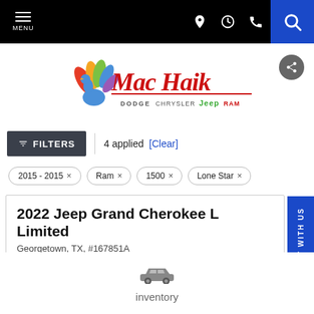MENU | navigation icons | search
[Figure (logo): Mac Haik Dodge Chrysler Jeep Ram dealership logo with colorful peacock bird]
FILTERS | 4 applied [Clear]
2015 - 2015 ×
Ram ×
1500 ×
Lone Star ×
2022 Jeep Grand Cherokee L Limited
Georgetown, TX, #167851A
1C4RJKBGXN8559820
5,665 mi.
3.6 liter V6 Cylinder Engine
Automatic
[Figure (illustration): Car/sedan icon in gray]
inventory